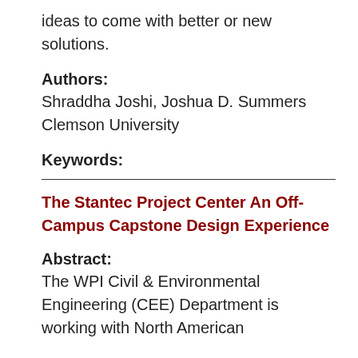ideas to come with better or new solutions.
Authors:
Shraddha Joshi, Joshua D. Summers
Clemson University
Keywords:
The Stantec Project Center An Off-Campus Capstone Design Experience
Abstract:
The WPI Civil & Environmental Engineering (CEE) Department is working with North American